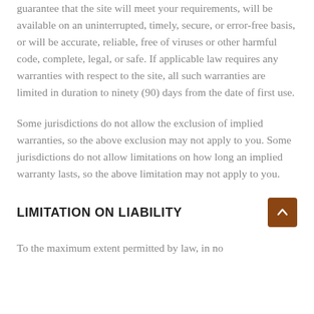guarantee that the site will meet your requirements, will be available on an uninterrupted, timely, secure, or error-free basis, or will be accurate, reliable, free of viruses or other harmful code, complete, legal, or safe. If applicable law requires any warranties with respect to the site, all such warranties are limited in duration to ninety (90) days from the date of first use.
Some jurisdictions do not allow the exclusion of implied warranties, so the above exclusion may not apply to you. Some jurisdictions do not allow limitations on how long an implied warranty lasts, so the above limitation may not apply to you.
LIMITATION ON LIABILITY
To the maximum extent permitted by law, in no